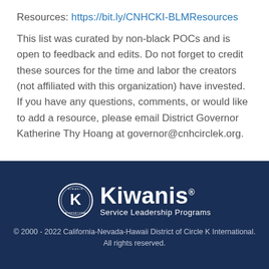Resources: https://bit.ly/CNHCKI-BLMResources
This list was curated by non-black POCs and is open to feedback and edits. Do not forget to credit these sources for the time and labor the creators (not affiliated with this organization) have invested. If you have any questions, comments, or would like to add a resource, please email District Governor Katherine Thy Hoang at governor@cnhcirclek.org.
[Figure (logo): Kiwanis Service Leadership Programs logo — circular emblem with K and text, alongside 'Kiwanis Service Leadership Programs' in white on dark blue background]
© 2000 - 2022 California-Nevada-Hawaii District of Circle K International. All rights reserved.